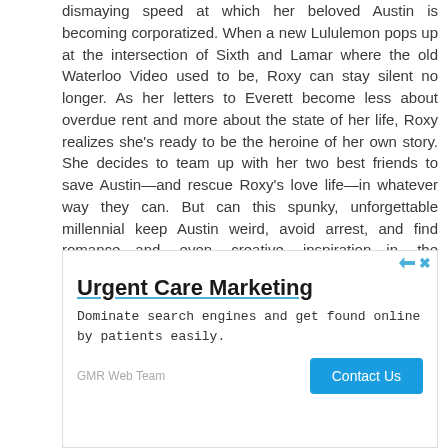dismaying speed at which her beloved Austin is becoming corporatized. When a new Lululemon pops up at the intersection of Sixth and Lamar where the old Waterloo Video used to be, Roxy can stay silent no longer. As her letters to Everett become less about overdue rent and more about the state of her life, Roxy realizes she's ready to be the heroine of her own story. She decides to team up with her two best friends to save Austin—and rescue Roxy's love life—in whatever way they can. But can this spunky, unforgettable millennial keep Austin weird, avoid arrest, and find romance—and even creative inspiration—in the process?
[Figure (screenshot): Advertisement box for Urgent Care Marketing by GMR Web Team. Contains title 'Urgent Care Marketing', body text 'Dominate search engines and get found online by patients easily.', brand name 'GMR Web Team', and a blue 'Contact Us' button.]